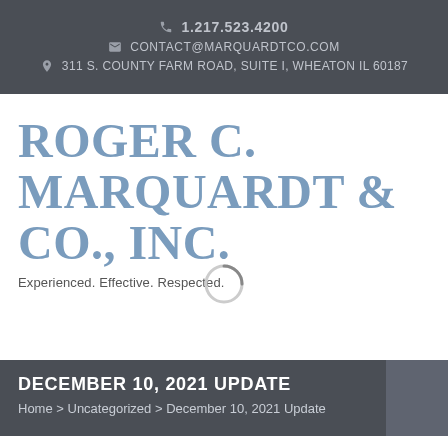1.217.523.4200 | CONTACT@MARQUARDTCO.COM | 311 S. COUNTY FARM ROAD, SUITE I, WHEATON IL 60187
ROGER C. MARQUARDT & CO., INC.
Experienced. Effective. Respected.
DECEMBER 10, 2021 UPDATE
Home > Uncategorized > December 10, 2021 Update